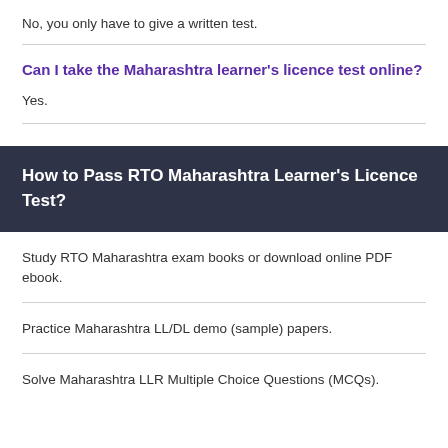No, you only have to give a written test.
Can I take the Maharashtra learner's licence test online?
Yes.
How to Pass RTO Maharashtra Learner's Licence Test?
Study RTO Maharashtra exam books or download online PDF ebook.
Practice Maharashtra LL/DL demo (sample) papers.
Solve Maharashtra LLR Multiple Choice Questions (MCQs).